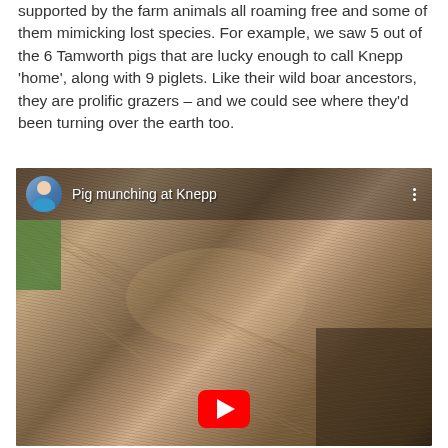supported by the farm animals all roaming free and some of them mimicking lost species. For example, we saw 5 out of the 6 Tamworth pigs that are lucky enough to call Knepp 'home', along with 9 piglets. Like their wild boar ancestors, they are prolific grazers – and we could see where they'd been turning over the earth too.
[Figure (screenshot): Embedded YouTube video thumbnail showing a close-up of a pig's fur/bristles at Knepp estate. The video overlay shows a circular avatar of a blonde woman in a blue jacket, the title 'Pig munching at Knepp', a three-dot menu icon in the top-right, and a red YouTube play button at the bottom center.]